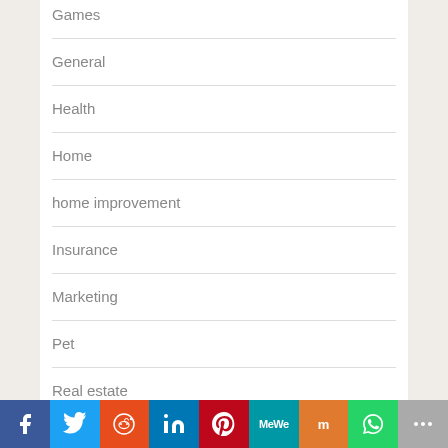Games
General
Health
Home
home improvement
Insurance
Marketing
Pet
Real estate
Shopping
Software
Facebook Twitter Reddit LinkedIn Pinterest MeWe Mix WhatsApp More